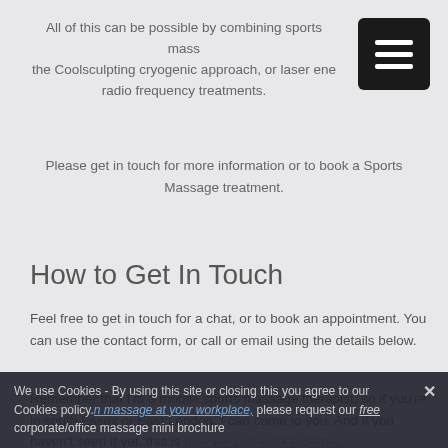All of this can be possible by combining sports mass... the Coolsculpting cryogenic approach, or laser ene... radio frequency treatments.
Please get in touch for more information or to book a Sports Massage treatment.
How to Get In Touch
Feel free to get in touch for a chat, or to book an appointment. You can use the contact form, or call or email using the details below.
Remember that I'm a mobile sports massage therapist, so if you're in south Essex or East London, I can come to you. And if you haven't seen it yet, this is how we can work together. We use Cookies - By using this site or closing this you agree to our Cookies policy. massage at your workplace, please request our free corporate/office massage mini brochure.
We use Cookies - By using this site or closing this you agree to our Cookies policy.